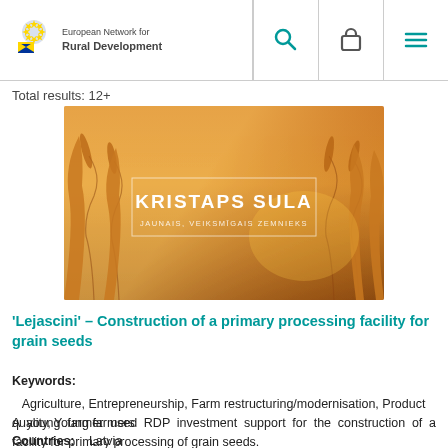European Network for Rural Development — navigation header with logo, search, basket, and menu icons
Total results: 12+
[Figure (photo): Photograph of wheat grain stalks at golden hour with text overlay 'KRISTAPS SULA' and subtitle 'JAUNAIS, VEIKSMĪGAIS ZEMNIEKS']
'Lejascini' – Construction of a primary processing facility for grain seeds
Keywords: Agriculture, Entrepreneurship, Farm restructuring/modernisation, Product quality, Young farmers
Countries: Latvia
A young farmer used RDP investment support for the construction of a facility for primary processing of grain seeds.